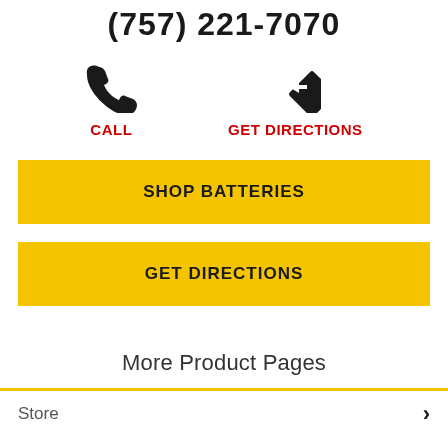(757) 221-7070
[Figure (illustration): Phone handset icon (black) above CALL label in red, and navigation/directions diamond icon (black) above GET DIRECTIONS label in red]
CALL
GET DIRECTIONS
SHOP BATTERIES
GET DIRECTIONS
More Product Pages
Store